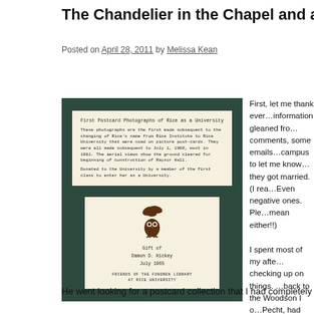The Chandelier in the Chapel and a Postc…
Posted on April 28, 2011 by Melissa Kean
[Figure (photo): Photograph of two archival cards on a dark green background. The top card reads 'First Postcard Photographs of Rice as a University' with typed text describing photographs made after Rice's name change from Rice Institute to Rice University. The bottom card shows an owl bookplate for 'Friends of the Fondren Library at Rice University' with 'Gift of Damon D. Hickey, July 1965'.]
First, let me thank every…information gleaned fro…comments, some emails…campus to let me know…they got married. (I rea…Even negative ones. Ple…mean either!!)
I spent most of my afte…checking up on things. …back to the Woodson I o…Pecht, had taken the op…answer to the mystery o…didn't quite get there, b…
He went looking for a postcard collection that I had completely